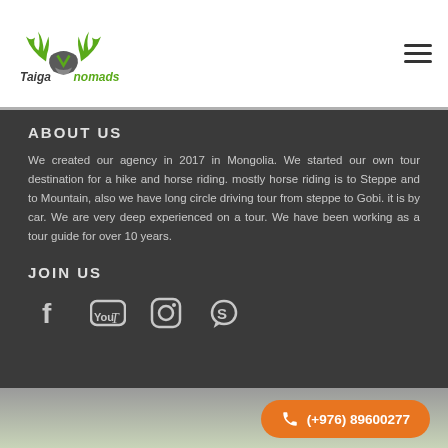Taiga Nomads
ABOUT US
We created our agency in 2017 in Mongolia. We started our own tour destination for a hike and horse riding. mostly horse riding is to Steppe and to Mountain, also we have long circle driving tour from steppe to Gobi. it is by car. We are very deep experienced on a tour. We have been working as a tour guide for over 10 years.
JOIN US
[Figure (infographic): Social media icons: Facebook, YouTube, Instagram, Skype]
(+976) 89600277